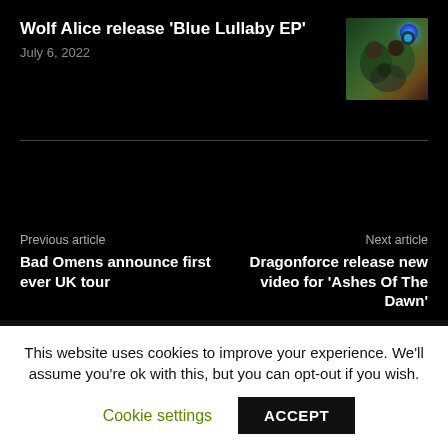Wolf Alice release ‘Blue Lullaby EP’
July 6, 2022
[Figure (photo): Group photo of Wolf Alice band members with blue lighting/decorations on dark green background]
Previous article
Bad Omens announce first ever UK tour
Next article
Dragonforce release new video for ‘Ashes Of The Dawn’
Related articles
This website uses cookies to improve your experience. We’ll assume you’re ok with this, but you can opt-out if you wish.
Cookie settings
ACCEPT